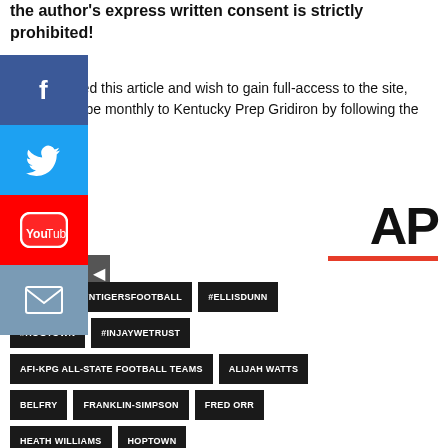the author's express written consent is strictly prohibited!
If you enjoyed this article and wish to gain full-access to the site, then subscribe monthly to Kentucky Prep Gridiron by following the prompts!
[Figure (logo): AP (Associated Press) logo in bold black text with red underline bar]
#2018HOPTOWNTIGERSFOOTBALL
#ELLISDUNN
#HOGTOWN
#INJAYWETRUST
AFI-KPG ALL-STATE FOOTBALL TEAMS
ALIJAH WATTS
BELFRY
FRANKLIN-SIMPSON
FRED ORR
HEATH WILLIAMS
HOPTOWN
JAIME COOPER-ROMAN
JATORIAN BILLARD